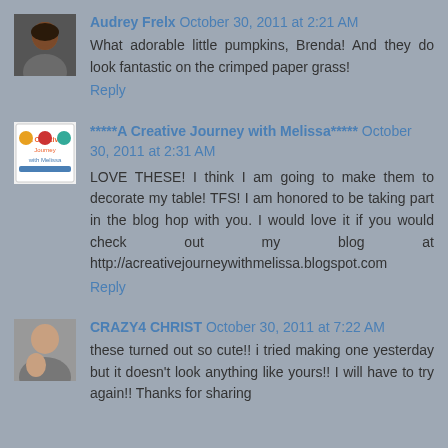[Figure (photo): Avatar photo of a woman with dark skin and hair]
Audrey Frelx October 30, 2011 at 2:21 AM
What adorable little pumpkins, Brenda! And they do look fantastic on the crimped paper grass!
Reply
[Figure (photo): Avatar image with colorful design, creative journey with Melissa blog logo]
******A Creative Journey with Melissa***** October 30, 2011 at 2:31 AM
LOVE THESE! I think I am going to make them to decorate my table! TFS! I am honored to be taking part in the blog hop with you. I would love it if you would check out my blog at http://acreativejourneywithmelissa.blogspot.com
Reply
[Figure (photo): Avatar photo of a woman with child]
CRAZY4 CHRIST October 30, 2011 at 7:22 AM
these turned out so cute!! i tried making one yesterday but it doesn't look anything like yours!! I will have to try again!! Thanks for sharing